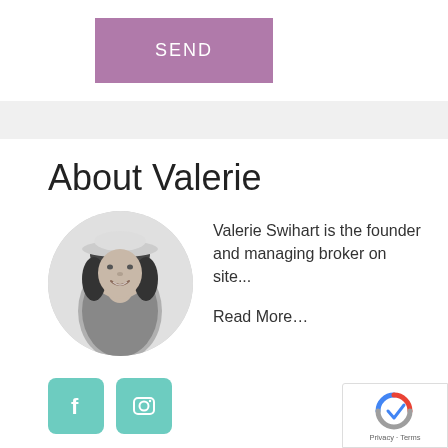SEND
About Valerie
[Figure (photo): Black and white circular portrait photo of Valerie Swihart, a woman wearing a wide-brim hat with curly dark hair, smiling.]
Valerie Swihart is the founder and managing broker on site...
Read More…
[Figure (other): Two social media icons — Facebook (f) and Instagram (camera icon) — in teal/mint rounded square buttons.]
[Figure (other): reCAPTCHA badge showing Google reCAPTCHA logo with 'Privacy - Terms' text.]